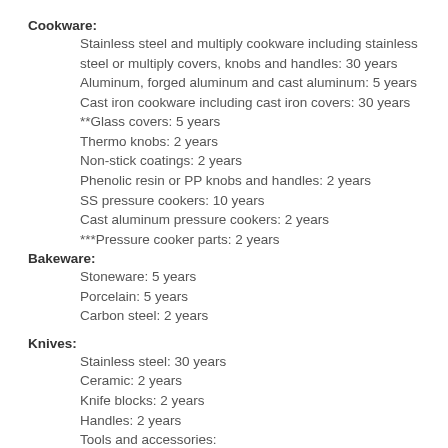Cookware:
Stainless steel and multiply cookware including stainless steel or multiply covers, knobs and handles: 30 years
Aluminum, forged aluminum and cast aluminum: 5 years
Cast iron cookware including cast iron covers: 30 years
**Glass covers: 5 years
Thermo knobs: 2 years
Non-stick coatings: 2 years
Phenolic resin or PP knobs and handles: 2 years
SS pressure cookers: 10 years
Cast aluminum pressure cookers: 2 years
***Pressure cooker parts: 2 years
Bakeware:
Stoneware: 5 years
Porcelain: 5 years
Carbon steel: 2 years
Knives:
Stainless steel: 30 years
Ceramic: 2 years
Knife blocks: 2 years
Handles: 2 years
Tools and accessories: